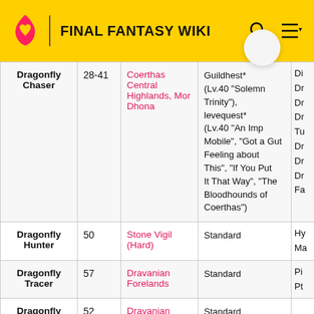FINAL FANTASY WIKI
| Name | Lv. | Location | Obtain | ... |
| --- | --- | --- | --- | --- |
| Dragonfly Chaser | 28-41 | Coerthas Central Highlands, Mor Dhona | Guildhest* (Lv.40 "Solemn Trinity"), levequest* (Lv.40 "An Imp Mobile", "Got a Gut Feeling about This", "If You Put It That Way", "The Bloodhounds of Coerthas") | Di... Dr... Dr... Dr... Tu... Dr... Dr... Dr... Fa... |
| Dragonfly Hunter | 50 | Stone Vigil (Hard) | Standard | Hy... Ma... |
| Dragonfly Tracer | 57 | Dravanian Forelands | Standard | Pi... Pt... |
| Dragonfly | 52 | Dravanian... | Standard |  |